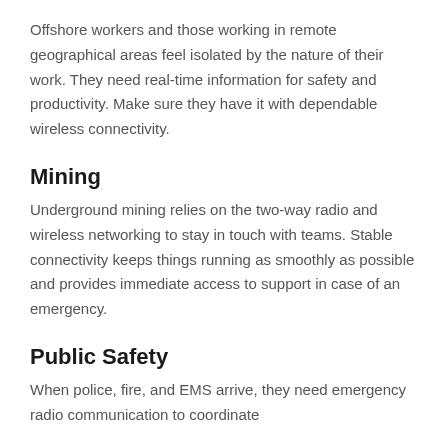Offshore workers and those working in remote geographical areas feel isolated by the nature of their work. They need real-time information for safety and productivity. Make sure they have it with dependable wireless connectivity.
Mining
Underground mining relies on the two-way radio and wireless networking to stay in touch with teams. Stable connectivity keeps things running as smoothly as possible and provides immediate access to support in case of an emergency.
Public Safety
When police, fire, and EMS arrive, they need emergency radio communication to coordinate